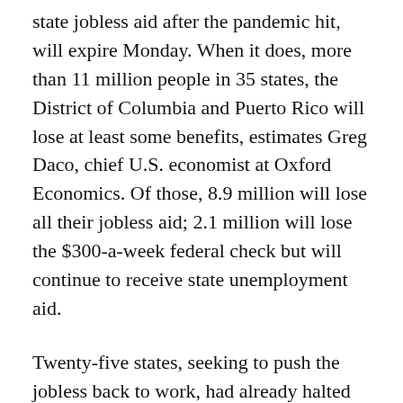state jobless aid after the pandemic hit, will expire Monday. When it does, more than 11 million people in 35 states, the District of Columbia and Puerto Rico will lose at least some benefits, estimates Greg Daco, chief U.S. economist at Oxford Economics. Of those, 8.9 million will lose all their jobless aid; 2.1 million will lose the $300-a-week federal check but will continue to receive state unemployment aid.
Twenty-five states, seeking to push the jobless back to work, had already halted the federal aid for an additional 3.5 million people, Daco said.
In a report last week, economists Peter McCrory and Daniel Silver of J.P. Morgan found "zero correlation" between job growth and state decisions to drop the federal unemployment aid, at least so far. They warn